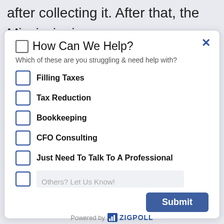after collecting it. After that, the Mississippi Department of Revenue will disperse it as
How Can We Help?
Which of these are you struggling & need help with?
Filling Taxes
Tax Reduction
Bookkeeping
CFO Consulting
Just Need To Talk To A Professional
Others? Let Us Know!
Submit
Powered by ZIGPOLL